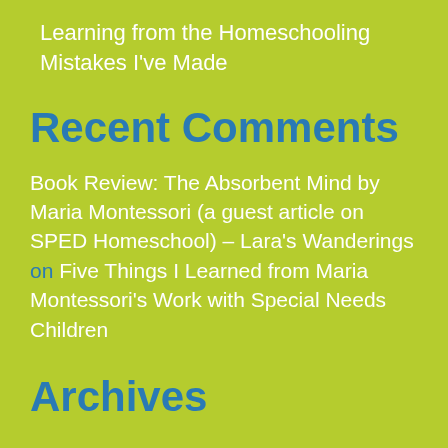Learning from the Homeschooling Mistakes I've Made
Recent Comments
Book Review: The Absorbent Mind by Maria Montessori (a guest article on SPED Homeschool) – Lara's Wanderings on Five Things I Learned from Maria Montessori's Work with Special Needs Children
Archives